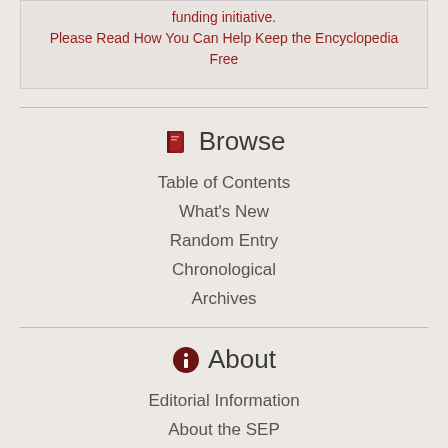funding initiative.
Please Read How You Can Help Keep the Encyclopedia Free
Browse
Table of Contents
What's New
Random Entry
Chronological
Archives
About
Editorial Information
About the SEP
Editorial Board
How to Cite the SEP
Special Characters